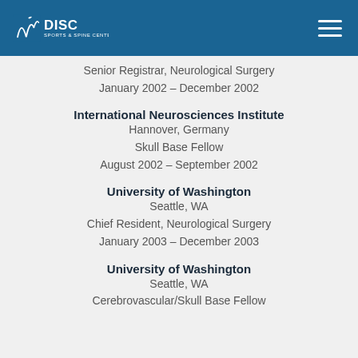[Figure (logo): DISC Sports & Spine Center logo with hamburger menu on blue header bar]
Senior Registrar, Neurological Surgery
January 2002 – December 2002
International Neurosciences Institute
Hannover, Germany
Skull Base Fellow
August 2002 – September 2002
University of Washington
Seattle, WA
Chief Resident, Neurological Surgery
January 2003 – December 2003
University of Washington
Seattle, WA
Cerebrovascular/Skull Base Fellow